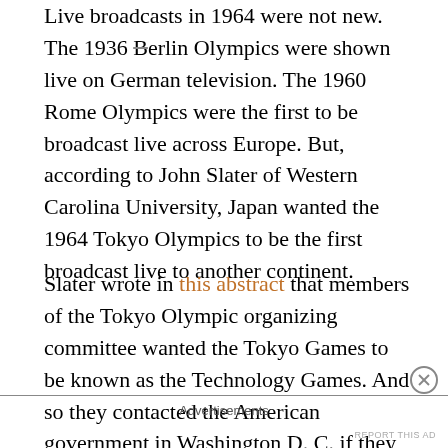Live broadcasts in 1964 were not new. The 1936 Berlin Olympics were shown live on German television. The 1960 Rome Olympics were the first to be broadcast live across Europe. But, according to John Slater of Western Carolina University, Japan wanted the 1964 Tokyo Olympics to be the first broadcast live to another continent.
Slater wrote in this abstract that members of the Tokyo Olympic organizing committee wanted the Tokyo Games to be known as the Technology Games. And so they contacted the American government in Washington D. C. if they would be willing to adapt American communication satellites designed for telephone communications to relay television signals. American officials also thought it would be very cool
Advertisements